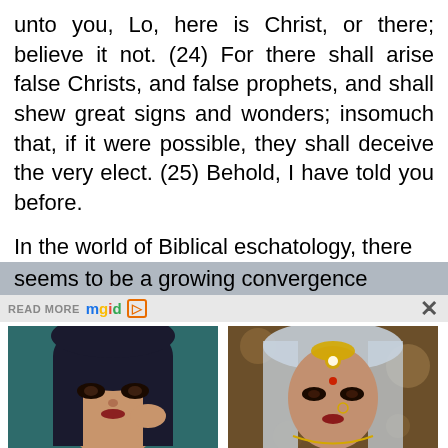unto you, Lo, here is Christ, or there; believe it not. (24) For there shall arise false Christs, and false prophets, and shall shew great signs and wonders; insomuch that, if it were possible, they shall deceive the very elect. (25) Behold, I have told you before.
In the world of Biblical eschatology, there seems to be a growing convergence
READ MORE mgid ▷
[Figure (photo): Photo of an Asian woman wearing a headscarf with dramatic eye makeup]
10 Asian Actresses Of Irresistible Beauty
[Figure (photo): Photo of Deepika Padukone in bridal attire with jewelry]
Deepika Padukone's Most Iconic Looks